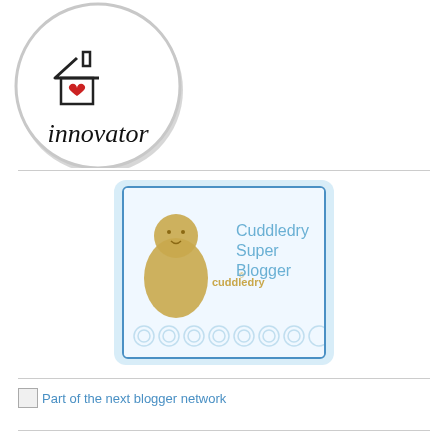[Figure (logo): Circular badge/button with a house outline, red heart inside, and the word 'innovator' in handwritten style below the house. Gray shadow border around the circle.]
[Figure (logo): Cuddledry Super Blogger badge: light blue rounded rectangle containing an inner blue-bordered rectangle, a golden cartoon character (baby wrapped in towel) on the left with 'cuddledry' text and registered mark, and 'Cuddledry Super Blogger' text in blue on the right. Bottom has decorative circle pattern.]
Part of the next blogger network